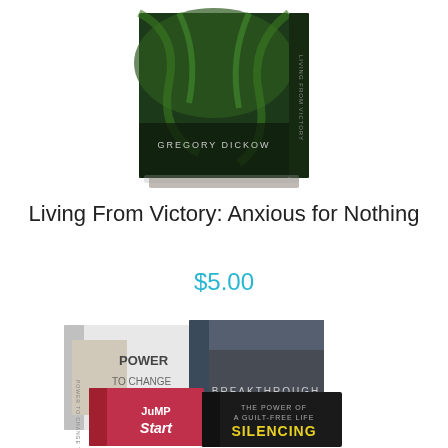[Figure (photo): Product image: a DVD/book box set with tropical palm leaf background and text 'GREGORY DICKOW' on the cover, dark earthy tones]
Living From Victory: Anxious for Nothing
$5.00
[Figure (photo): Product bundle image showing multiple items: 'Power to Change Today' DVD with a man in black jacket, 'Breakthrough Thinking' book/DVD, 'Jump Start' box in red/pink, and 'The Power of a Guilt-Free Life: Silencing the Accuser' book with yellow text]